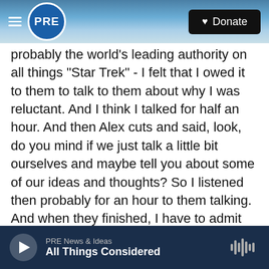PRE | Donate
probably the world's leading authority on all things "Star Trek" - I felt that I owed it to them to talk to them about why I was reluctant. And I think I talked for half an hour. And then Alex cuts and said, look, do you mind if we just talk a little bit ourselves and maybe tell you about some of our ideas and thoughts? So I listened then probably for an hour to them talking. And when they finished, I have to admit that a little tingle had started in my spine with regard to some of the ideas and concepts that they were putting forward.
BRIGER: It sounds like one of the things that enticed
PRE News & Ideas | All Things Considered